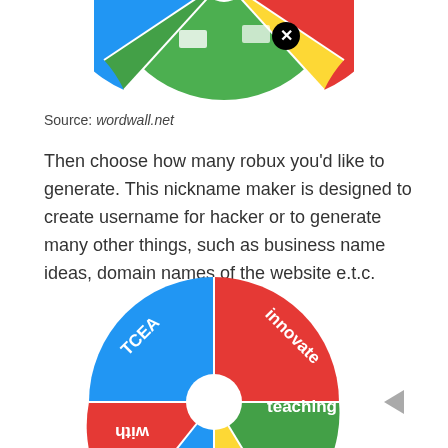[Figure (other): Partial spinning wheel at top of page showing colorful segments with country flags and an X close button]
Source: wordwall.net
Then choose how many robux you'd like to generate. This nickname maker is designed to create username for hacker or to generate many other things, such as business name ideas, domain names of the website e.t.c.
[Figure (other): Spinning wheel showing colored segments labeled TCEA, innovate, teaching, with (partially visible), and other segments in blue, red, green, yellow colors. A gray arrow pointer points to the 'teaching' segment. An X close button is at the bottom.]